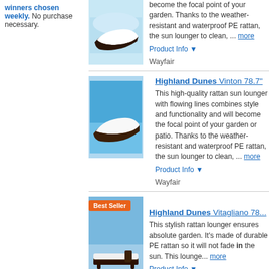Winners chosen weekly. No purchase necessary.
[Figure (photo): Sun lounger with white cushion and dark wicker base, poolside background]
become the focal point of your garden. Thanks to the weather-resistant and waterproof PE rattan, the sun lounger to clean, ... more
Product Info ▼
Wayfair
Highland Dunes Vinton 78.7"
[Figure (photo): Brown wicker sun lounger with white cushion, blue sky background]
This high-quality rattan sun lounger with flowing lines combines style and functionality and will become the focal point of your garden or patio. Thanks to the weather-resistant and waterproof PE rattan, the sun lounger to clean, ... more
Product Info ▼
Wayfair
Highland Dunes Vitagliano 78...
[Figure (photo): Best Seller - Rattan sun lounger on outdoor terrace]
This stylish rattan lounger ensures absolute garden. It's made of durable PE rattan so it will not fade in the sun. This lounge... more
Product Info ▼
Wade Logan® Alodie 45.67" L...
[Figure (photo): Outdoor chaise lounge near pool with plants]
The patio chaise lounge is made of PE cushion. PE rattan is light and beautiful resistant. The aluminum frame is light...